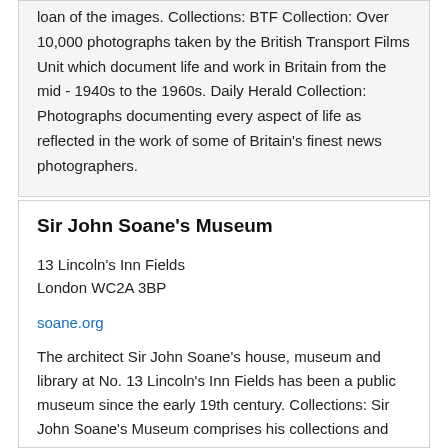loan of the images. Collections: BTF Collection: Over 10,000 photographs taken by the British Transport Films Unit which document life and work in Britain from the mid - 1940s to the 1960s. Daily Herald Collection: Photographs documenting every aspect of life as reflected in the work of some of Britain's finest news photographers.
Sir John Soane's Museum
13 Lincoln's Inn Fields
London WC2A 3BP
soane.org
The architect Sir John Soane's house, museum and library at No. 13 Lincoln's Inn Fields has been a public museum since the early 19th century. Collections: Sir John Soane's Museum comprises his collections and personal effects, acquired between the 1780s and his death in 1837. The museum's collections contain many